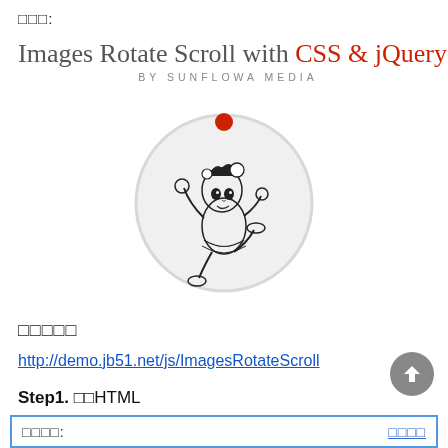□□□:
Images Rotate Scroll with CSS & jQuery
BY SUNFLOWA MEDIA
[Figure (illustration): A circle with a light gray border and a red dot at the top. Inside the circle is a black-and-white line drawing of an anime-style character (chibi girl) in a fighting pose.]
□□□□□
http://demo.jb51.net/js/ImagesRotateScroll
Step1. □□HTML
| □□□□: | □□□□ |
| --- | --- |